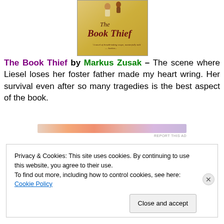[Figure (illustration): Book cover of 'The Book Thief' with aged parchment background, dark red cursive title text, small figure illustration at top, and tagline text at bottom]
The Book Thief by Markus Zusak – The scene where Liesel loses her foster father made my heart wring. Her survival even after so many tragedies is the best aspect of the book.
[Figure (other): Advertisement banner with gradient orange-pink-purple colors]
Privacy & Cookies: This site uses cookies. By continuing to use this website, you agree to their use.
To find out more, including how to control cookies, see here: Cookie Policy
Close and accept